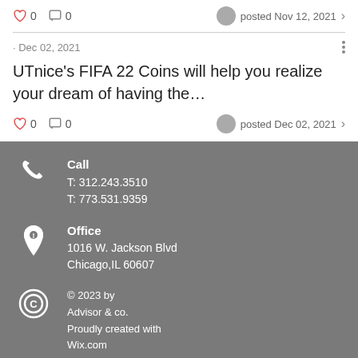0  0  posted Nov 12, 2021 >
· Dec 02, 2021
UTnice's FIFA 22 Coins will help you realize your dream of having the...
0  0  posted Dec 02, 2021 >
Call
T: 312.243.3510
T: 773.531.9359
Office
1016 W. Jackson Blvd
Chicago,IL 60607
© 2023 by Advisor & co. Proudly created with Wix.com